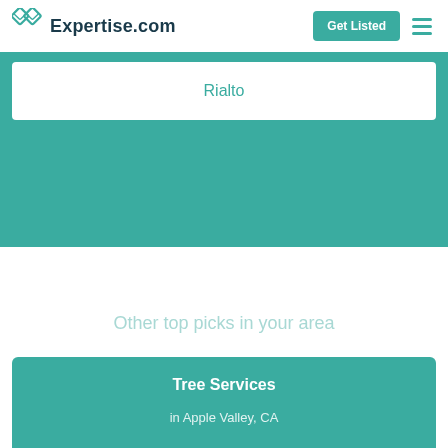Expertise.com | Get Listed
Rialto
Other top picks in your area
Tree Services in Apple Valley, CA